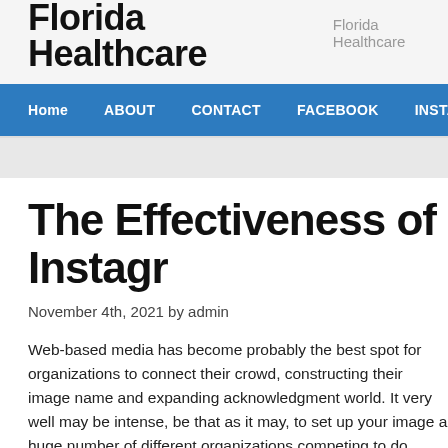Florida Healthcare   Florida Healthcare
Home   ABOUT   CONTACT   FACEBOOK   INSTAGRAM   PRIVACY POL...
The Effectiveness of Instagr...
November 4th, 2021 by admin
Web-based media has become probably the best spot for organizations to connect their crowd, constructing their image name and expanding acknowledgment world. It very well may be intense, be that as it may, to set up your image a huge number of different organizations competing to do precisely the sa...
With over a billion group perusing applications like Instagram for the duration of the day, you miss out on a ton of expected income by not exploiting online media stages. Instagram launched in 2010 and has been a force to be reckoned with from that point forward, continually adding new components and turning out to be progressively easy to use, attracting...